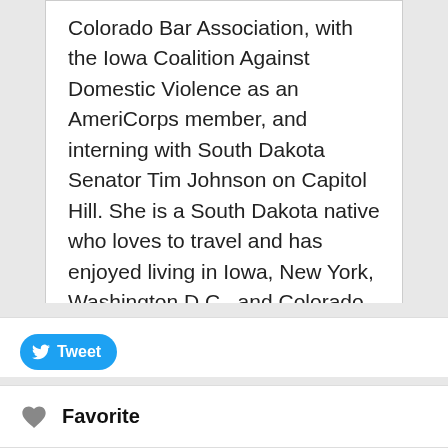Colorado Bar Association, with the Iowa Coalition Against Domestic Violence as an AmeriCorps member, and interning with South Dakota Senator Tim Johnson on Capitol Hill. She is a South Dakota native who loves to travel and has enjoyed living in Iowa, New York, Washington D.C., and Colorado.
[Figure (other): Tweet button with Twitter bird icon on a blue rounded pill-shaped button]
[Figure (other): Favorite button with a gray heart icon and bold 'Favorite' label]